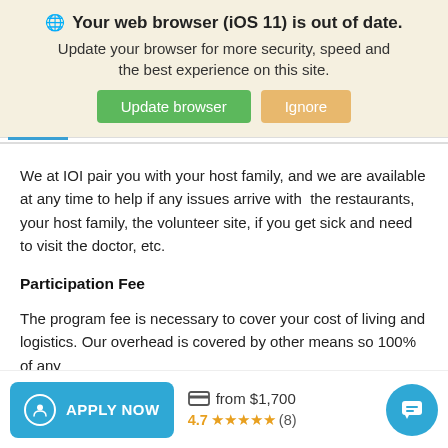Your web browser (iOS 11) is out of date.
Update your browser for more security, speed and the best experience on this site.
We at IOI pair you with your host family, and we are available at any time to help if any issues arrive with the restaurants, your host family, the volunteer site, if you get sick and need to visit the doctor, etc.
Participation Fee
The program fee is necessary to cover your cost of living and logistics. Our overhead is covered by other means so 100% of any
APPLY NOW  from $1,700  4.7 ★★★★★ (8)